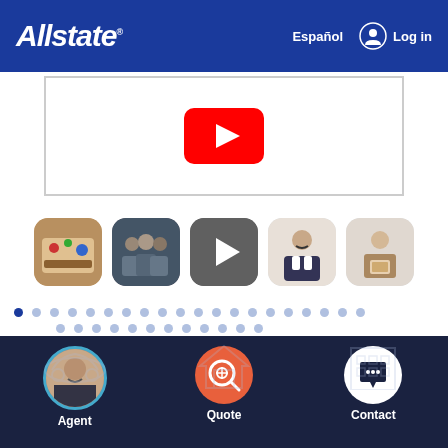Allstate — Español  Log in
[Figure (screenshot): YouTube video embed placeholder with red YouTube play button icon on white background, outlined with light border]
[Figure (screenshot): Row of 5 thumbnail images/videos: colorful items, group photo, video play button, man in suit, man holding award]
[Figure (other): Pagination dots: two rows of circular dots, first dot in first row is dark blue (active), rest are light blue/grey]
Products we offer:
[Figure (screenshot): Bottom navigation bar on dark navy background with three items: Agent (circular photo of man), Quote (orange circle with search/dollar icon), Contact (white circle with chat bubble icon), with faint background icons for Auto, Home, Condo]